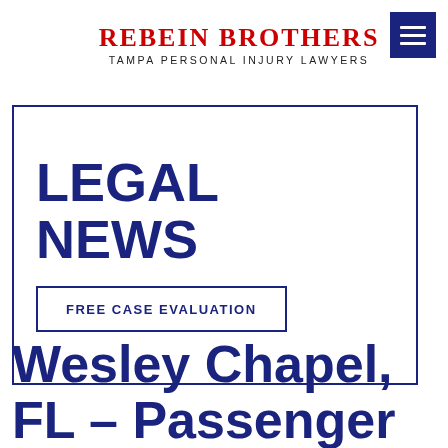Rebein Brothers — Tampa Personal Injury Lawyers
LEGAL NEWS
FREE CASE EVALUATION
Wesley Chapel, FL – Passenger